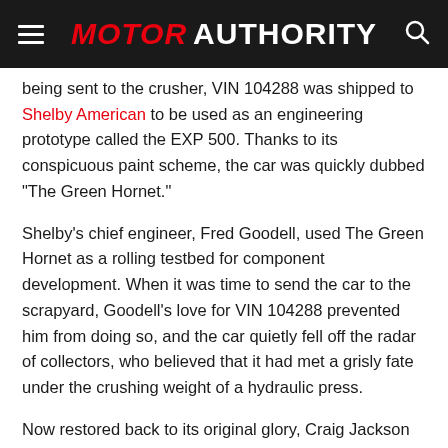MOTOR AUTHORITY
being sent to the crusher, VIN 104288 was shipped to Shelby American to be used as an engineering prototype called the EXP 500. Thanks to its conspicuous paint scheme, the car was quickly dubbed "The Green Hornet."
Shelby's chief engineer, Fred Goodell, used The Green Hornet as a rolling testbed for component development. When it was time to send the car to the scrapyard, Goodell's love for VIN 104288 prevented him from doing so, and the car quietly fell off the radar of collectors, who believed that it had met a grisly fate under the crushing weight of a hydraulic press.
Now restored back to its original glory, Craig Jackson calls car a